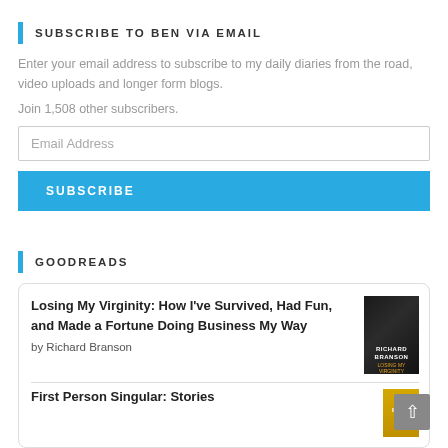SUBSCRIBE TO BEN VIA EMAIL
Enter your email address to subscribe to my daily diaries from the road, video uploads and longer form blogs.
Join 1,508 other subscribers.
Email Address
SUBSCRIBE
GOODREADS
Losing My Virginity: How I've Survived, Had Fun, and Made a Fortune Doing Business My Way
by Richard Branson
First Person Singular: Stories